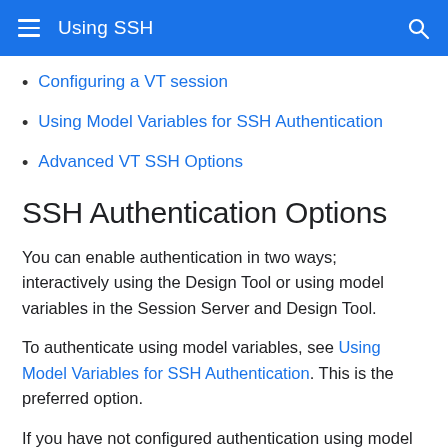Using SSH
Configuring a VT session
Using Model Variables for SSH Authentication
Advanced VT SSH Options
SSH Authentication Options
You can enable authentication in two ways; interactively using the Design Tool or using model variables in the Session Server and Design Tool.
To authenticate using model variables, see Using Model Variables for SSH Authentication. This is the preferred option.
If you have not configured authentication using model variables in the Design Tool, you are prompted to specify